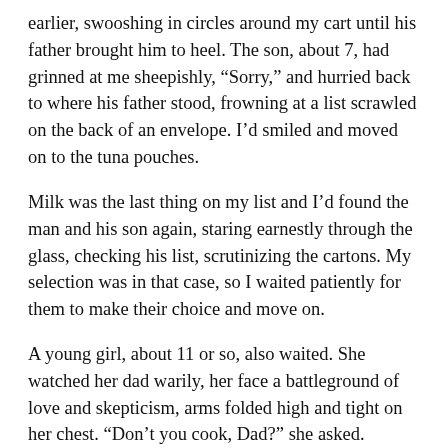earlier, swooshing in circles around my cart until his father brought him to heel. The son, about 7, had grinned at me sheepishly, “Sorry,” and hurried back to where his father stood, frowning at a list scrawled on the back of an envelope. I’d smiled and moved on to the tuna pouches.
Milk was the last thing on my list and I’d found the man and his son again, staring earnestly through the glass, checking his list, scrutinizing the cartons. My selection was in that case, so I waited patiently for them to make their choice and move on.
A young girl, about 11 or so, also waited. She watched her dad warily, her face a battleground of love and skepticism, arms folded high and tight on her chest. “Don’t you cook, Dad?” she asked.
“Usually I go out, honey,” he said. He saw me and asked for help. Sure, I agreed, and he asked for the light cream.
“I see half and half, I see heavy whipping cream, I see milk. Where’s the light cream, please?”